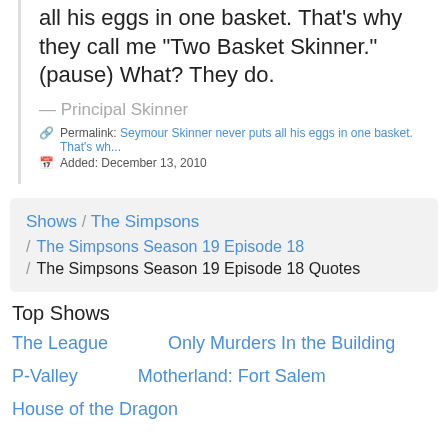all his eggs in one basket. That's why they call me "Two Basket Skinner." (pause) What? They do.
— Principal Skinner
Permalink: Seymour Skinner never puts all his eggs in one basket. That's wh...
Added: December 13, 2010
Shows / The Simpsons / The Simpsons Season 19 Episode 18 / The Simpsons Season 19 Episode 18 Quotes
Top Shows
The League
Only Murders In the Building
P-Valley
Motherland: Fort Salem
House of the Dragon